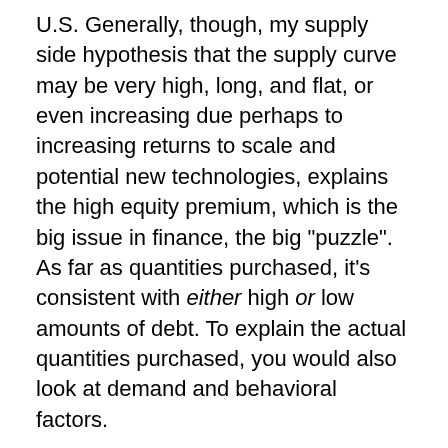U.S. Generally, though, my supply side hypothesis that the supply curve may be very high, long, and flat, or even increasing due perhaps to increasing returns to scale and potential new technologies, explains the high equity premium, which is the big issue in finance, the big "puzzle". As far as quantities purchased, it's consistent with either high or low amounts of debt. To explain the actual quantities purchased, you would also look at demand and behavioral factors.

But my point is, my supply-